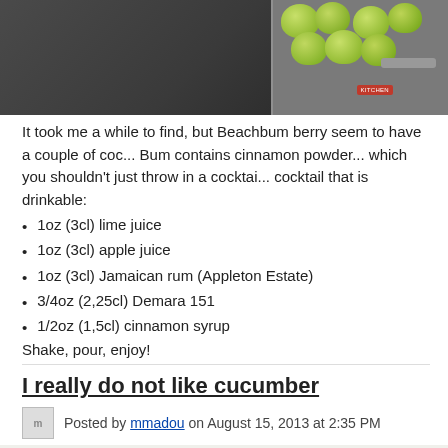[Figure (photo): Cropped photo showing dark background with a box of green apples on the right side]
It took me a while to find, but Beachbum berry seem to have a couple of coc... Bum contains cinnamon powder... which you shouldn't just throw in a cocktai... cocktail that is drinkable:
1oz (3cl) lime juice
1oz (3cl) apple juice
1oz (3cl) Jamaican rum (Appleton Estate)
3/4oz (2,25cl) Demara 151
1/2oz (1,5cl) cinnamon syrup
Shake, pour, enjoy!
I really do not like cucumber
Posted by mmadou on August 15, 2013 at 2:35 PM
Or, maybe I do like cucumber in cocktails. Away from cucumber simple cucumber appearances.
That a sip of cucumber tonic or double shot 2-4 pieces. Middle cocktails and...